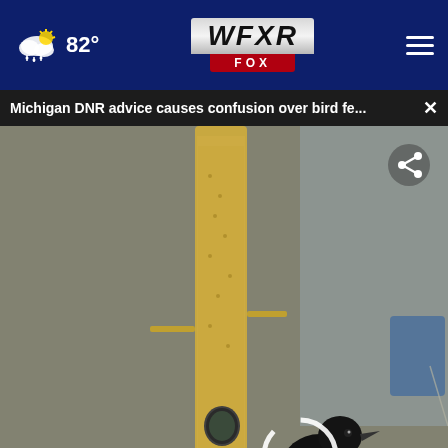82° WFXR FOX
Michigan DNR advice causes confusion over bird fe...  ×
[Figure (screenshot): Video screenshot of a black bird (red-winged blackbird) perched on a cylindrical bird feeder pole. Lower-third news graphic reads: NEW TONIGHT | DNR ADVICE CAUSES CONFUSION ABOUT BIRD FEEDERS | 11:07 34° | [Channel 8 logo]]
To what extent do you like or dislike Trevor Noah's style of political commentary and comedy?
[Figure (advertisement): Goodyear Tire Promotion - Virginia Tire & Auto of Ashburn ad with logo and navigation arrow icon]
Somewhat like